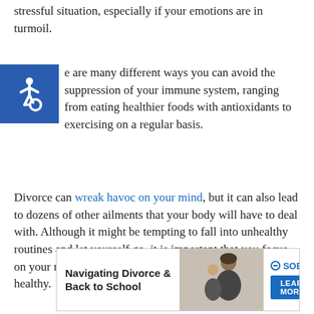stressful situation, especially if your emotions are in turmoil.
[Figure (illustration): Accessibility wheelchair symbol icon — white wheelchair figure on blue square background]
There are many different ways you can avoid the suppression of your immune system, ranging from eating healthier foods with antioxidants to exercising on a regular basis.
Divorce can wreak havoc on your mind, but it can also lead to dozens of other ailments that your body will have to deal with. Although it might be tempting to fall into unhealthy routines and let yourself go, it is important that you focus on your mental and physical well-being to stay strong and healthy.
[Figure (infographic): Advertisement banner: Navigating Divorce & Back to School — Soberlink, Learn More button, image of woman and child]